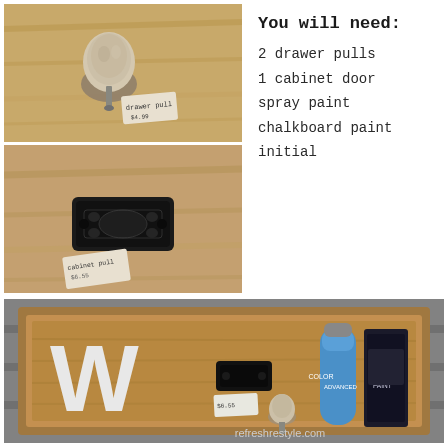[Figure (photo): Close-up photo of a drawer pull (decorative knob) on a wooden surface with a price tag]
[Figure (photo): Close-up photo of a black ornate cabinet door pull on a wooden surface with a price tag]
You will need:
2 drawer pulls
1 cabinet door
spray paint
chalkboard paint
initial
[Figure (photo): Cabinet door laid flat showing a large white letter W, a black drawer pull, a price tag, spray paint bottles, and a knob — all items needed for the DIY project. Watermark: refreshrestyle.com]